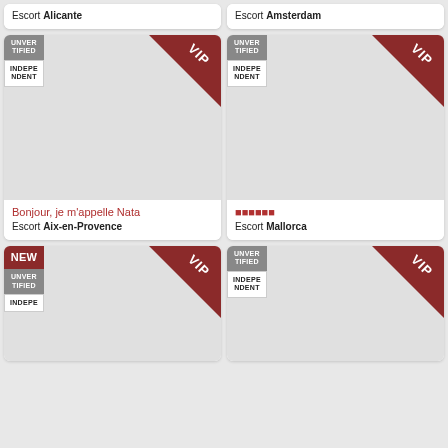Escort Alicante
Escort Amsterdam
[Figure (other): Escort listing card with UNVERIFIED and INDEPENDENT badges, VIP ribbon, gray placeholder image. Title: Bonjour, je m'appelle Nata. Location: Escort Aix-en-Provence]
[Figure (other): Escort listing card with UNVERIFIED and INDEPENDENT badges, VIP ribbon, gray placeholder image. Title: circles placeholder text. Location: Escort Mallorca]
[Figure (other): Escort listing card (partial) with NEW, UNVERIFIED, INDEPENDENT badges and VIP ribbon]
[Figure (other): Escort listing card (partial) with UNVERIFIED and INDEPENDENT badges, VIP ribbon]